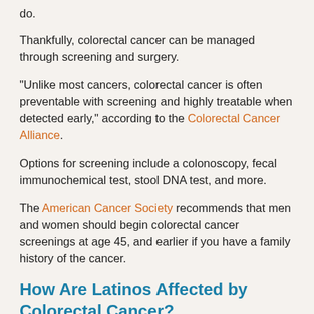do.
Thankfully, colorectal cancer can be managed through screening and surgery.
“Unlike most cancers, colorectal cancer is often preventable with screening and highly treatable when detected early,” according to the Colorectal Cancer Alliance.
Options for screening include a colonoscopy, fecal immunochemical test, stool DNA test, and more.
The American Cancer Society recommends that men and women should begin colorectal cancer screenings at age 45, and earlier if you have a family history of the cancer.
How Are Latinos Affected by Colorectal Cancer?
Cancer is the #1 cause of death for Latinos.
Latinos experienced increased rates of many cancers,